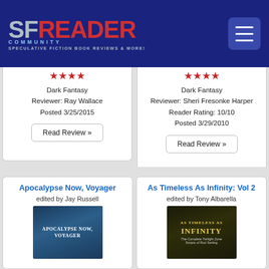SF READER COMMUNITY - SPECULATIVE FICTION BOOK REVIEWS & MORE!
Dark Fantasy
Reviewer: Ray Wallace
Posted 3/25/2015
Dark Fantasy
Reviewer: Sheri Fresonke Harper
Reader Rating: 10/10
Posted 3/29/2010
Apocalypse Now, Voyager
edited by Jay Russell
As Timeless As Infinity: Vol 2
edited by Tony Albarella